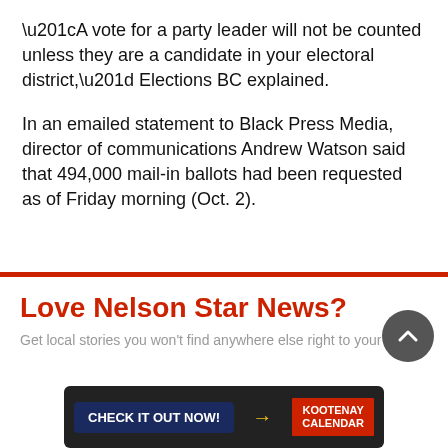“A vote for a party leader will not be counted unless they are a candidate in your electoral district,” Elections BC explained.
In an emailed statement to Black Press Media, director of communications Andrew Watson said that 494,000 mail-in ballots had been requested as of Friday morning (Oct. 2).
Love Nelson Star News?
Get local stories you won’t find anywhere else right to your inbox.
[Figure (infographic): Advertisement banner: CHECK IT OUT NOW! button with Kootenay Calendar logo on dark background with crowd photo]